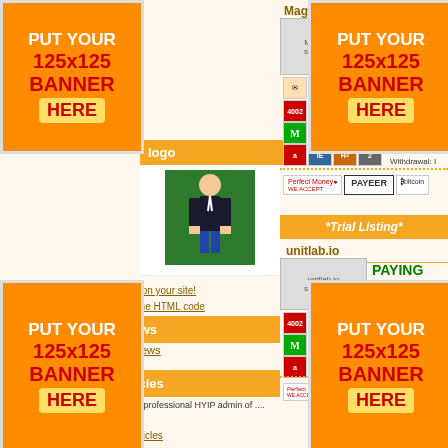[Figure (screenshot): Left column of HYIP monitor website showing logo area, news section, articles section]
[Figure (screenshot): Right column showing Magfier.com listing with payment icons and Trial Listing for unitlab.io]
[Figure (other): Top-left 125x125 banner ad placeholder - PUT YOUR 125x125 BANNER HERE]
[Figure (other): Top-right 125x125 banner ad placeholder - PUT YOUR 125x125 BANNER HERE]
[Figure (other): Bottom-left 125x125 banner ad placeholder - PUT YOUR 125x125 BANNER HERE]
[Figure (other): Bottom-right 125x125 banner ad placeholder - PUT YOUR 125x125 BANNER HERE]
Put this logo on your site!
Click here for the HTML code
News
All news
Articles
Visithyip.com is the best & trusted professional HYIP admin of .... more
All articles
Magfier.Co
*Trial Listing*
unitlab.io
PAYING
Upgrade
Referral:
Withdrawal: I